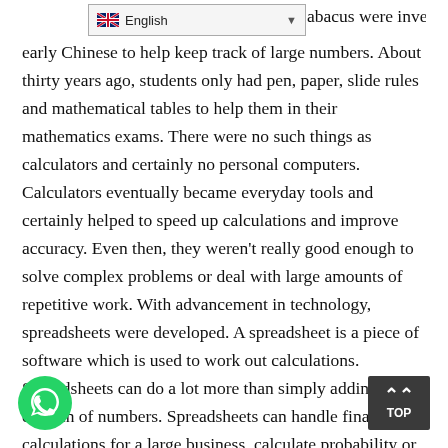[Figure (other): Language selector dropdown showing English with flag icon]
le abacus were invented by the early Chinese to help keep track of large numbers. About thirty years ago, students only had pen, paper, slide rules and mathematical tables to help them in their mathematics exams. There were no such things as calculators and certainly no personal computers. Calculators eventually became everyday tools and certainly helped to speed up calculations and improve accuracy. Even then, they weren't really good enough to solve complex problems or deal with large amounts of repetitive work. With advancement in technology, spreadsheets were developed. A spreadsheet is a piece of software which is used to work out calculations. Spreadsheets can do a lot more than simply adding up a column of numbers. Spreadsheets can handle financial calculations for a large business, calculate probability or other statistical information, do complex trigonometry and make colorful graphs and charts. Some examples of these spreadsheets include, Microsoft Excel, siCalc, Lotus 1-2-3, MS-DOS spreadsheets and Open Office or Calc...
[Figure (other): WhatsApp chat button (green circle with phone icon)]
[Figure (other): TOP scroll-to-top button (dark grey with double up-arrows)]